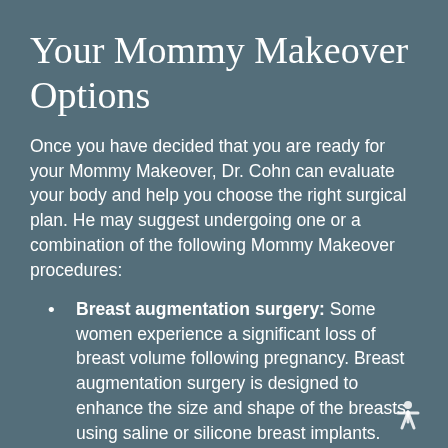Your Mommy Makeover Options
Once you have decided that you are ready for your Mommy Makeover, Dr. Cohn can evaluate your body and help you choose the right surgical plan. He may suggest undergoing one or a combination of the following Mommy Makeover procedures:
Breast augmentation surgery: Some women experience a significant loss of breast volume following pregnancy. Breast augmentation surgery is designed to enhance the size and shape of the breasts using saline or silicone breast implants.
Breast lift surgery: In addition to the loss of breast volume, some women are left with sagging skin caused by dramatic fluctuations in